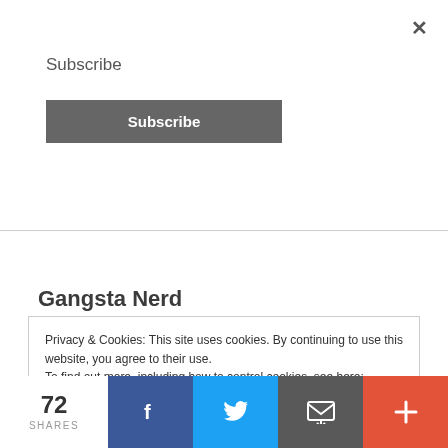×
Subscribe
Subscribe
Gangsta Nerd
Privacy & Cookies: This site uses cookies. By continuing to use this website, you agree to their use.
To find out more, including how to control cookies, see here: Cookie Policy
72 SHARES
f
bird icon
email icon
+